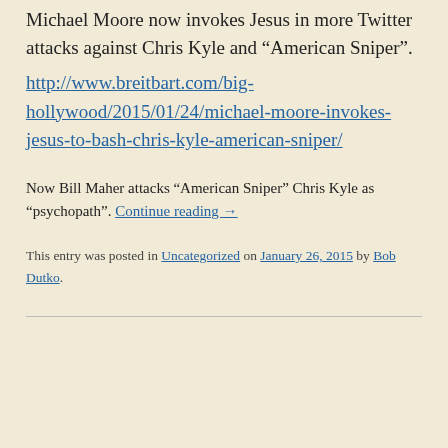Michael Moore now invokes Jesus in more Twitter attacks against Chris Kyle and “American Sniper”.
http://www.breitbart.com/big-hollywood/2015/01/24/michael-moore-invokes-jesus-to-bash-chris-kyle-american-sniper/
Now Bill Maher attacks “American Sniper” Chris Kyle as “psychopath”. Continue reading →
This entry was posted in Uncategorized on January 26, 2015 by Bob Dutko.